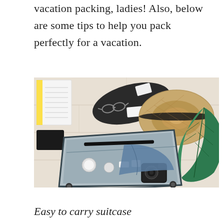vacation packing, ladies! Also, below are some tips to help you pack perfectly for a vacation.
[Figure (photo): Overhead flat-lay photo of an open suitcase surrounded by travel items including a straw hat, a tropical leaf, a notebook, glasses, a camera, cosmetics, and a black bag on a light wood surface.]
Easy to carry suitcase